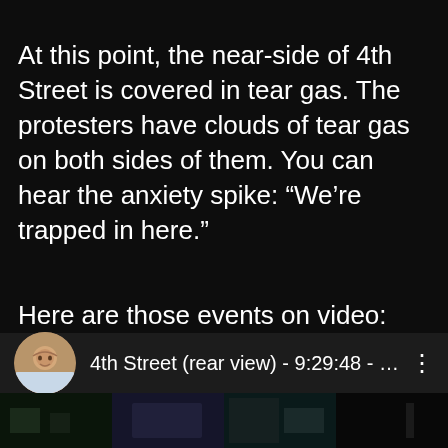At this point, the near-side of 4th Street is covered in tear gas. The protesters have clouds of tear gas on both sides of them. You can hear the anxiety spike: “We’re trapped in here.”
Here are those events on video:
[Figure (screenshot): Video embed thumbnail showing a circular avatar of a man smiling, with text '4th Street (rear view) - 9:29:48 - 9:30:...' and a three-dot menu icon, with dark video thumbnails below.]